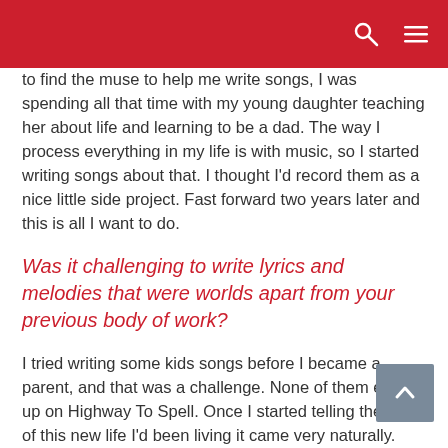to find the muse to help me write songs, I was spending all that time with my young daughter teaching her about life and learning to be a dad. The way I process everything in my life is with music, so I started writing songs about that. I thought I'd record them as a nice little side project. Fast forward two years later and this is all I want to do.
Was it challenging to write lyrics and melodies that were worlds apart from your previous body of work?
I tried writing some kids songs before I became a parent, and that was a challenge. None of them ended up on Highway To Spell. Once I started telling the story of this new life I'd been living it came very naturally.
Your Saturday Morning show has drawn quite a crowd both nationally and internationally, did you expect to have such a huge reach and positive